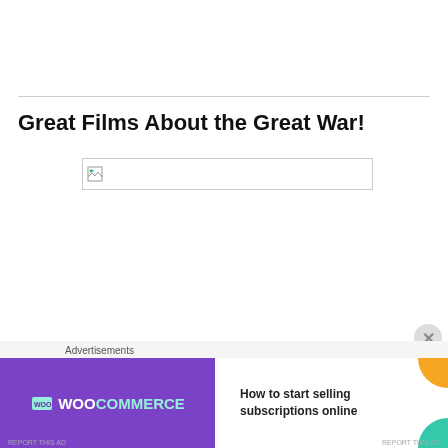Great Films About the Great War!
[Figure (photo): Broken image placeholder — a small broken image icon inside a bordered rectangle]
Advertisements
[Figure (illustration): WooCommerce advertisement banner: purple left side with WooCommerce logo and arrow, white right side with text 'How to start selling subscriptions online', decorative orange and teal shapes in top-right and bottom-right corners]